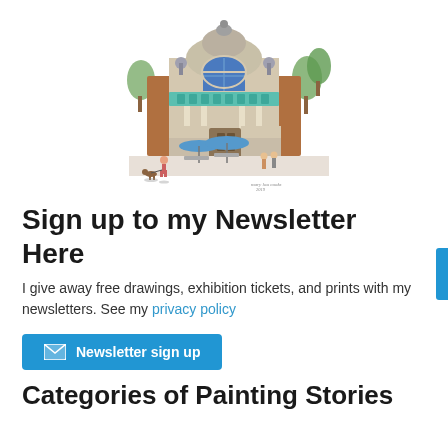[Figure (illustration): Watercolor illustration of an ornate historic building facade with blue umbrella, trees, and pedestrians walking a dog in front.]
Sign up to my Newsletter Here
I give away free drawings, exhibition tickets, and prints with my newsletters. See my privacy policy
[Figure (other): Blue newsletter sign up button with envelope icon]
Categories of Painting Stories